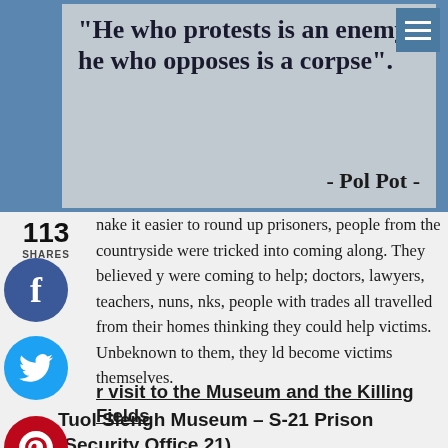[Figure (illustration): Quote image with blue header bar and grey background. Text reads: 'He who protests is an enemy; he who opposes is a corpse' - Pol Pot -]
nake it easier to round up prisoners, people from the countryside were tricked into coming along. They believed y were coming to help; doctors, lawyers, teachers, nuns, nks, people with trades all travelled from their homes thinking they could help victims. Unbeknown to them, they ld become victims themselves.
r visit to the Museum and the Killing Fields
Tuol Slengh Museum – S-21 Prison (Security Office 21)
Entrance Fee: $5, if you want a guide you make a donation, $8 with audio